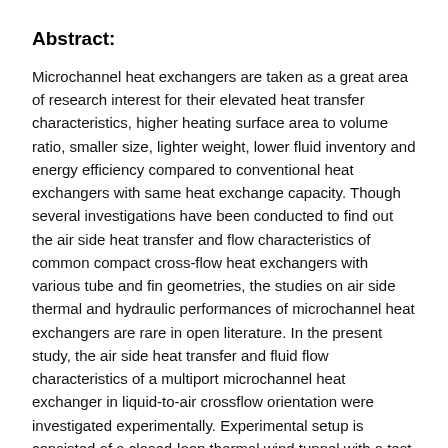Abstract:
Microchannel heat exchangers are taken as a great area of research interest for their elevated heat transfer characteristics, higher heating surface area to volume ratio, smaller size, lighter weight, lower fluid inventory and energy efficiency compared to conventional heat exchangers with same heat exchange capacity. Though several investigations have been conducted to find out the air side heat transfer and flow characteristics of common compact cross-flow heat exchangers with various tube and fin geometries, the studies on air side thermal and hydraulic performances of microchannel heat exchangers are rare in open literature. In the present study, the air side heat transfer and fluid flow characteristics of a multiport microchannel heat exchanger in liquid-to-air crossflow orientation were investigated experimentally. Experimental setup is consisted of a closed-loop thermal wind tunnel with a test section of microchannel heat exchanger in crossflow orientation and numbers of measuring